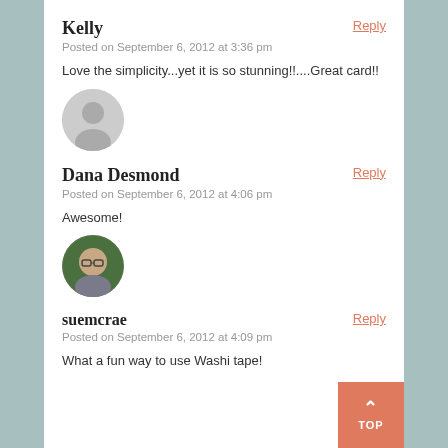Kelly
Posted on September 6, 2012 at 3:36 pm
Love the simplicity...yet it is so stunning!!....Great card!!
[Figure (illustration): Gray circular avatar placeholder with silhouette]
Dana Desmond
Posted on September 6, 2012 at 4:06 pm
Awesome!
[Figure (photo): Circular profile photo of suemcrae, a person with glasses]
suemcrae
Posted on September 6, 2012 at 4:09 pm
What a fun way to use Washi tape!